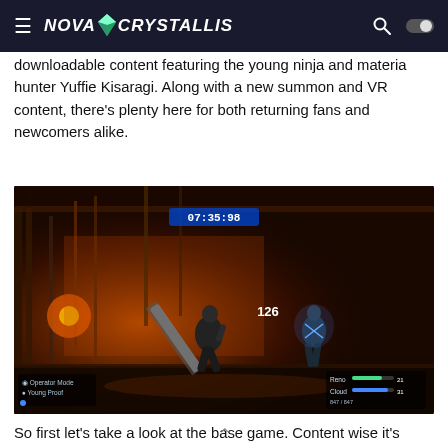NOVA CRYSTALLIS
downloadable content featuring the young ninja and materia hunter Yuffie Kisaragi. Along with a new summon and VR content, there's plenty here for both returning fans and newcomers alike.
[Figure (screenshot): In-game screenshot from Final Fantasy VII Remake, showing a combat scene with characters fighting in an industrial setting. HUD elements visible including a timer showing 07:35:98, damage number 126, and character health/status bars.]
So first let's take a look at the base game. Content wise it's